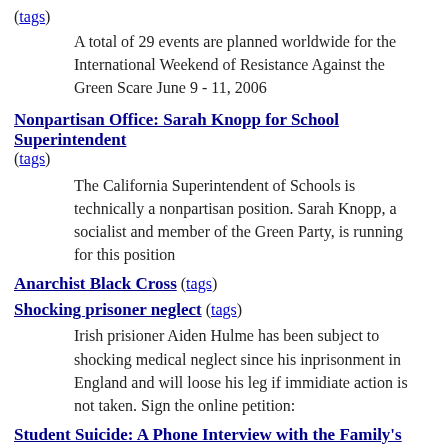(tags)
A total of 29 events are planned worldwide for the International Weekend of Resistance Against the Green Scare June 9 - 11, 2006
Nonpartisan Office: Sarah Knopp for School Superintendent
(tags)
The California Superintendent of Schools is technically a nonpartisan position. Sarah Knopp, a socialist and member of the Green Party, is running for this position
Anarchist Black Cross
(tags)
Shocking prisoner neglect
(tags)
Irish prisioner Aiden Hulme has been subject to shocking medical neglect since his inprisonment in England and will loose his leg if immidiate action is not taken. Sign the online petition:
Student Suicide: A Phone Interview with the Family's Attorney
(tags)